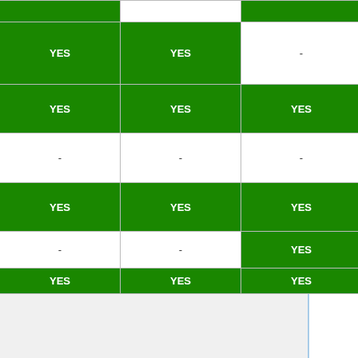| Name | Col1 | Col2 | Col3 |
| --- | --- | --- | --- |
| Helen |  |  |  |
| Patriarchs Abraham, Isaac, and Jacob | YES | YES | - |
| Anba Abraam Bishop of Fayoum | YES | YES | YES |
| Fr. Abdelmessih El-Manahri | - | - | - |
| His Holiness Pope Kyrillos VI | YES | YES | YES |
| St. Habib Girgis | - | - | YES |
| Patriarch | YES | YES | YES |
Dates
It is important to understand how dates in Coptic Reader are computed. The Gregorian date displayed in the Coptic...